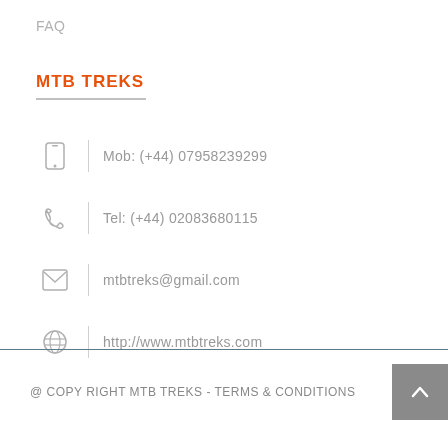FAQ
MTB TREKS
Mob: (+44) 07958239299
Tel: (+44) 02083680115
mtbtreks@gmail.com
http://www.mtbtreks.com
@ COPY RIGHT MTB TREKS - TERMS & CONDITIONS